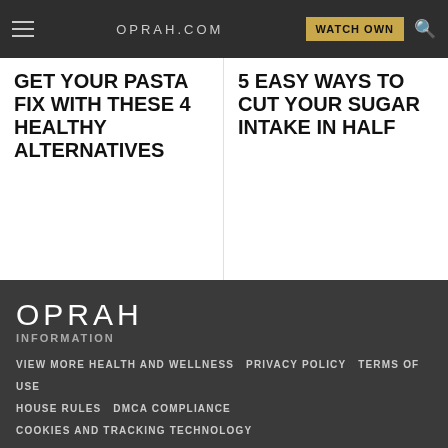OPRAH.COM  WATCH OWN
GET YOUR PASTA FIX WITH THESE 4 HEALTHY ALTERNATIVES
5 EASY WAYS TO CUT YOUR SUGAR INTAKE IN HALF
OPRAH
INFORMATION
VIEW MORE HEALTH AND WELLNESS   PRIVACY POLICY   TERMS OF USE
HOUSE RULES   DMCA COMPLIANCE
COOKIES AND TRACKING TECHNOLOGY
CALIFORNIA DO NOT SELL MY PERSONAL INFORMATION
CALIFORNIA PRIVACY NOTICE   SCAMS   PRESS ROOM   AD SALES